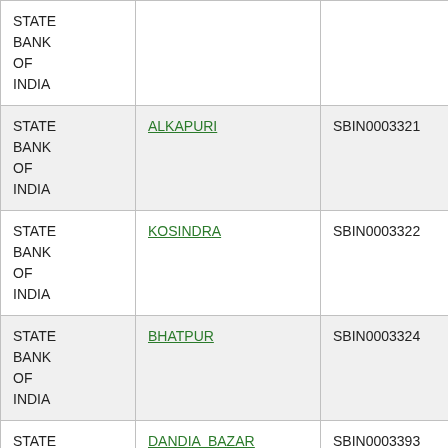| Bank | Branch | IFSC | MICR |
| --- | --- | --- | --- |
| STATE BANK OF INDIA |  |  |  |
| STATE BANK OF INDIA | ALKAPURI | SBIN0003321 | 390002014 |
| STATE BANK OF INDIA | KOSINDRA | SBIN0003322 | 391002024 |
| STATE BANK OF INDIA | BHATPUR | SBIN0003324 | 391002023 |
| STATE BANK OF INDIA | DANDIA BAZAR BARODA | SBIN0003393 | 390002002 |